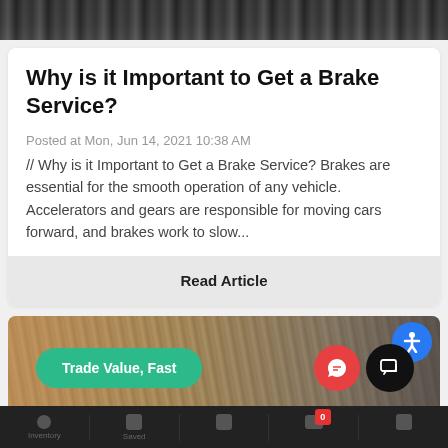[Figure (photo): Close-up dark image of a car brake disc/rotor at the top of the page]
Why is it Important to Get a Brake Service?
Posted at Mon, Jun 14, 2021 10:38 AM
// Why is it Important to Get a Brake Service? Brakes are essential for the smooth operation of any vehicle. Accelerators and gears are responsible for moving cars forward, and brakes work to slow...
Read Article
[Figure (photo): Background image showing stacked papers/documents with overlaid UI buttons including a green 'Trade Value, Fast' pill button, a red chat button, a dark message button, and a blue accessibility icon]
Navigation footer bar with icons